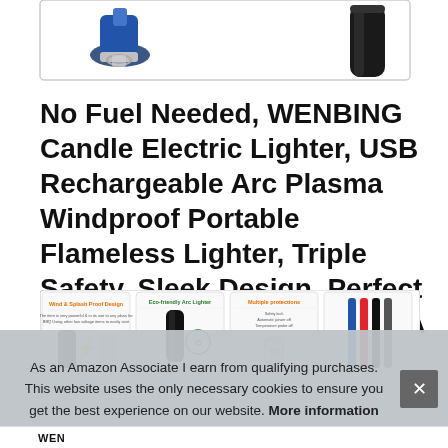[Figure (photo): Product image strip at top showing electric lighter from multiple angles including a blue/black lighter on the left and a black cylindrical lighter on the right, on a white background with a gray border]
No Fuel Needed, WENBING Candle Electric Lighter, USB Rechargeable Arc Plasma Windproof Portable Flameless Lighter, Triple Safety, Sleek Design, Perfect for Kitchen Camping Xmas,A
[Figure (photo): Row of four product detail thumbnails showing: Wind & Splash Proof Design, Eco-friendly Arc Lighter (Rechargeable & Eco-friendly), Multiple protections, and a color variant image]
As an Amazon Associate I earn from qualifying purchases. This website uses the only necessary cookies to ensure you get the best experience on our website. More information
WEN...